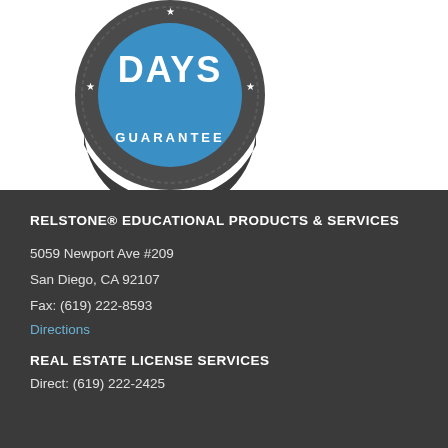[Figure (logo): Circular badge/seal with 'DAYS GUARANTEE' text in dark gray outer ring with stars, and blue center, partially cropped at top]
RELSTONE® EDUCATIONAL PRODUCTS & SERVICES
5059 Newport Ave #209
San Diego, CA 92107
Fax: (619) 222-8593
Directions
REAL ESTATE LICENSE SERVICES
Direct: (619) 222-2425